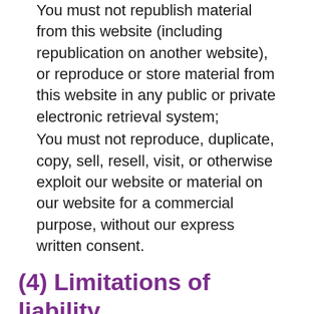You must not republish material from this website (including republication on another website), or reproduce or store material from this website in any public or private electronic retrieval system;
You must not reproduce, duplicate, copy, sell, resell, visit, or otherwise exploit our website or material on our website for a commercial purpose, without our express written consent.
(4) Limitations of liability
The information on this website is provided free-of-charge, and you acknowledge that it would be unreasonable to hold us liable in respect of this website and the information on